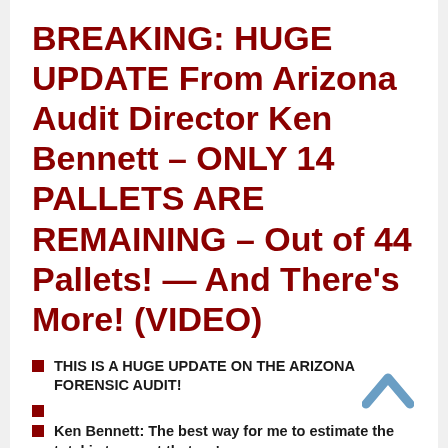BREAKING: HUGE UPDATE From Arizona Audit Director Ken Bennett – ONLY 14 PALLETS ARE REMAINING – Out of 44 Pallets! — And There's More! (VIDEO)
THIS IS A HUGE UPDATE ON THE ARIZONA FORENSIC AUDIT!
Ken Bennett: The best way for me to estimate the total is to count that we're now